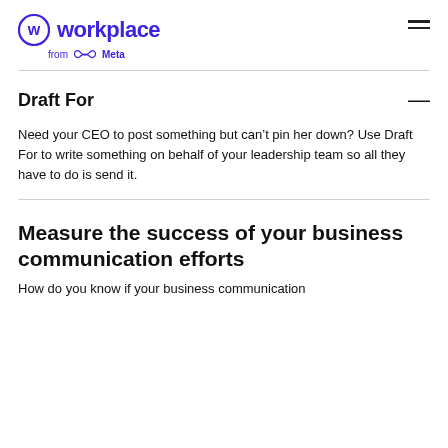Workplace from Meta
Draft For
Need your CEO to post something but can't pin her down? Use Draft For to write something on behalf of your leadership team so all they have to do is send it.
Measure the success of your business communication efforts
How do you know if your business communication